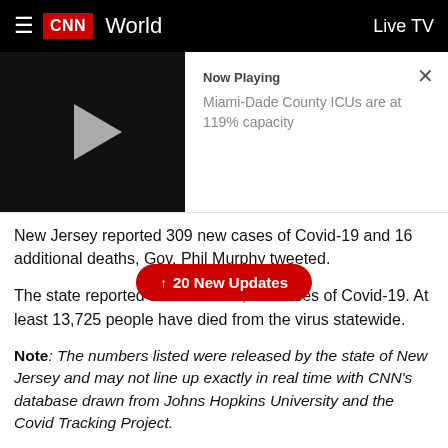CNN World | Live TV
[Figure (screenshot): Video thumbnail with play button showing Now Playing: Miami-Dade County ICUs are at 119% capacity, with close X button]
New Jersey reported 309 new cases of Covid-19 and 16 additional deaths, Gov. Phil Murphy tweeted.
The state reported a total of 176,814 cases of Covid-19. At least 13,725 people have died from the virus statewide.
Note: The numbers listed were released by the state of New Jersey and may not line up exactly in real time with CNN's database drawn from Johns Hopkins University and the Covid Tracking Project.